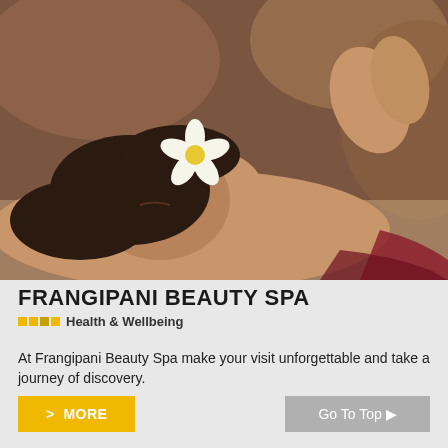[Figure (photo): Woman lying face down receiving a back massage, with a white frangipani flower in her hair, warm bokeh background]
FRANGIPANI BEAUTY SPA
Health & Wellbeing
At Frangipani Beauty Spa make your visit unforgettable and take a journey of discovery.
> MORE
Go To Top